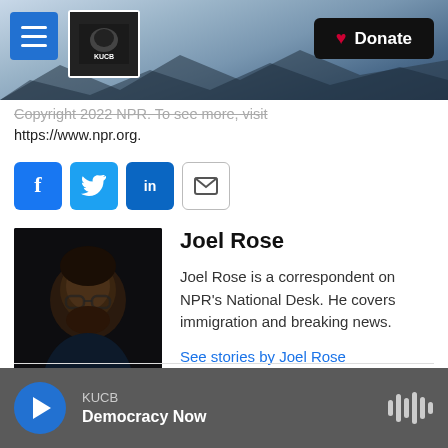KUCB Channel 8 TV | Donate
Copyright 2022 NPR. To see more, visit https://www.npr.org.
[Figure (other): Row of social sharing buttons: Facebook (blue), Twitter (blue), LinkedIn (blue), Email (white with envelope icon)]
[Figure (photo): Headshot photo of Joel Rose, a man with curly dark hair, glasses, and a beard, wearing a dark shirt, against a black background]
Joel Rose
Joel Rose is a correspondent on NPR's National Desk. He covers immigration and breaking news.
See stories by Joel Rose
KUCB Democracy Now